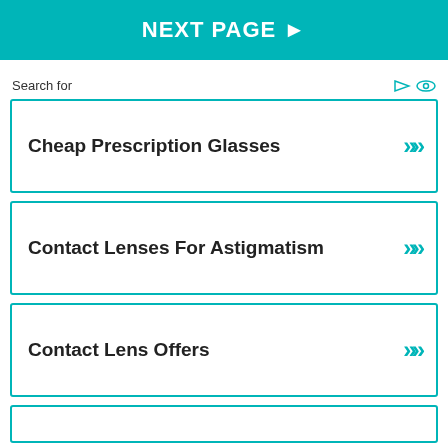NEXT PAGE ▶
Search for
Cheap Prescription Glasses
Contact Lenses For Astigmatism
Contact Lens Offers